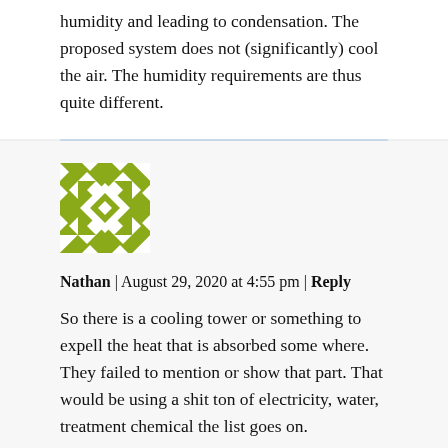humidity and leading to condensation. The proposed system does not (significantly) cool the air. The humidity requirements are thus quite different.
[Figure (illustration): Green quilted avatar image with white diamond and triangle geometric pattern for user Nathan]
Nathan | August 29, 2020 at 4:55 pm | Reply
So there is a cooling tower or something to expell the heat that is absorbed some where. They failed to mention or show that part. That would be using a shit ton of electricity, water, treatment chemical the list goes on.